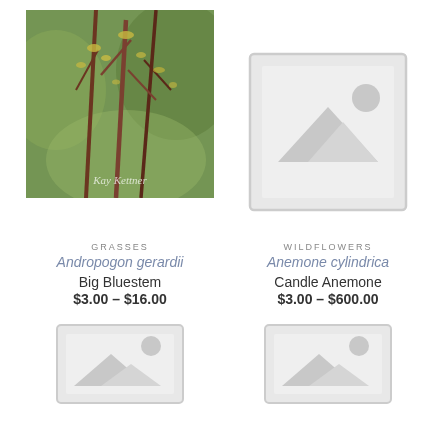[Figure (photo): Close-up photo of Big Bluestem grass (Andropogon gerardii) stems with seed heads against green background, watermark 'Kay Kettner']
GRASSES
Andropogon gerardii
Big Bluestem
$3.00 – $16.00
[Figure (illustration): Placeholder image thumbnail with mountain/sun icon, gray border]
WILDFLOWERS
Anemone cylindrica
Candle Anemone
$3.00 – $600.00
[Figure (illustration): Placeholder image thumbnail with mountain/sun icon, gray border, bottom left]
[Figure (illustration): Placeholder image thumbnail with mountain/sun icon, gray border, bottom right]